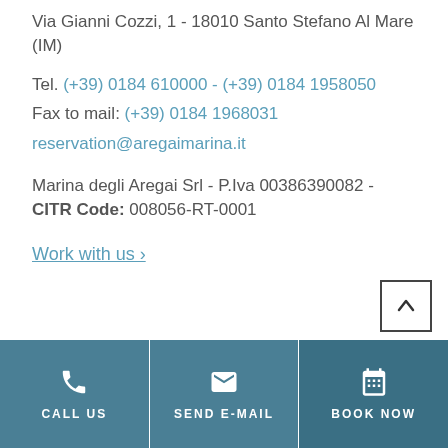Via Gianni Cozzi, 1 - 18010 Santo Stefano Al Mare (IM)
Tel. (+39) 0184 610000 - (+39) 0184 1958050
Fax to mail: (+39) 0184 1968031
reservation@aregaimarina.it
Marina degli Aregai Srl - P.Iva 00386390082 - CITR Code: 008056-RT-0001
Work with us ›
CALL US | SEND E-MAIL | BOOK NOW